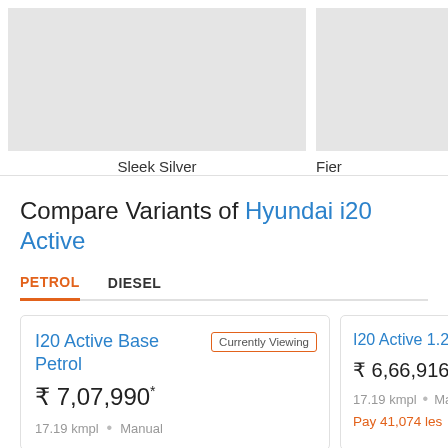[Figure (photo): Car image placeholder in light gray — Sleek Silver color option]
Sleek Silver
[Figure (photo): Car image placeholder in light gray — Fiery Red color option (partially visible)]
Fier
Compare Variants of Hyundai i20 Active
PETROL   DIESEL
I20 Active Base Petrol
₹ 7,07,990*
17.19 kmpl • Manual
Currently Viewing
I20 Active 1.2
₹ 6,66,916*
17.19 kmpl • Man
Pay 41,074 les